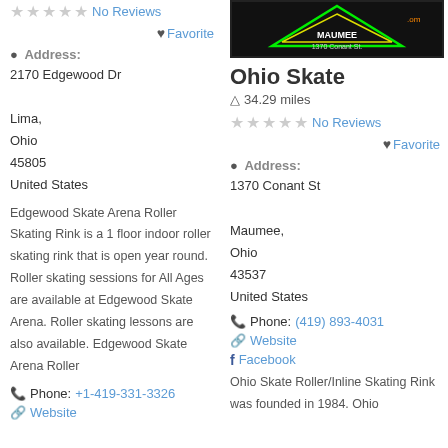★★★★★ No Reviews
❤ Favorite
Address: 2170 Edgewood Dr, Lima, Ohio 45805, United States
Edgewood Skate Arena Roller Skating Rink is a 1 floor indoor roller skating rink that is open year round. Roller skating sessions for All Ages are available at Edgewood Skate Arena. Roller skating lessons are also available. Edgewood Skate Arena Roller
Phone: +1-419-331-3326
Website
[Figure (photo): Ohio Skate venue signage with neon triangle design, text MAUMEE and 1370 Conant St.]
Ohio Skate
34.29 miles
★★★★★ No Reviews
❤ Favorite
Address: 1370 Conant St, Maumee, Ohio 43537, United States
Phone: (419) 893-4031
Website
Facebook
Ohio Skate Roller/Inline Skating Rink was founded in 1984. Ohio